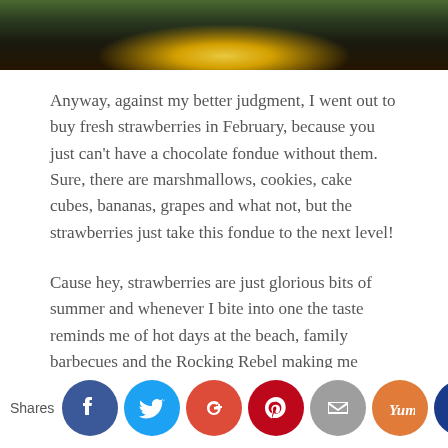[Figure (photo): Top portion of a food/lifestyle blog photo showing a warm glowing light (candle or fondue burner) with dark background and some green foliage visible at top]
Anyway, against my better judgment, I went out to buy fresh strawberries in February, because you just can't have a chocolate fondue without them. Sure, there are marshmallows, cookies, cake cubes, bananas, grapes and what not, but the strawberries just take this fondue to the next level!
Cause hey, strawberries are just glorious bits of summer and whenever I bite into one the taste reminds me of hot days at the beach, family barbecues and the Rocking Rebel making me breakfast in bed!
[Figure (infographic): Social share bar with 'Shares' label followed by circular social media icons: Facebook (blue), Twitter (light blue), Google+ (red-orange), Pinterest (dark red), Email (grey), Yummly (orange), Save (dark blue)]